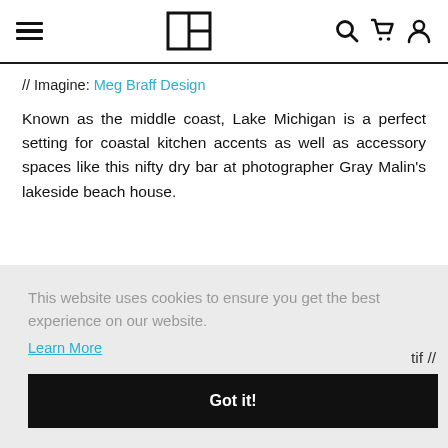Navigation bar with hamburger menu, logo, search, cart, and account icons
// Imagine: Meg Braff Design
Known as the middle coast, Lake Michigan is a perfect setting for coastal kitchen accents as well as accessory spaces like this nifty dry bar at photographer Gray Malin’s lakeside beach house.
This website uses cookies to ensure you get the best experience on our website. Learn More
Got it!
tif //